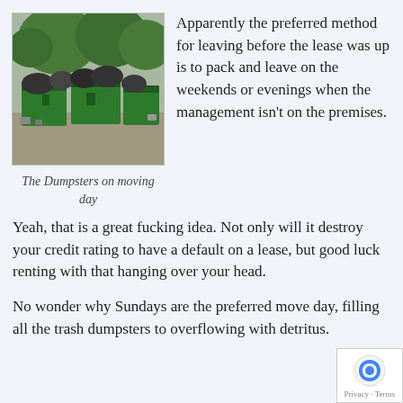[Figure (photo): Photo of overflowing green dumpsters in a parking lot with trees in the background and trash/garbage bags piled on top and around them.]
The Dumpsters on moving day
Apparently the preferred method for leaving before the lease was up is to pack and leave on the weekends or evenings when the management isn't on the premises.
Yeah, that is a great fucking idea. Not only will it destroy your credit rating to have a default on a lease, but good luck renting with that hanging over your head.
No wonder why Sundays are the preferred move day, filling all the trash dumpsters to overflowing with detritus.